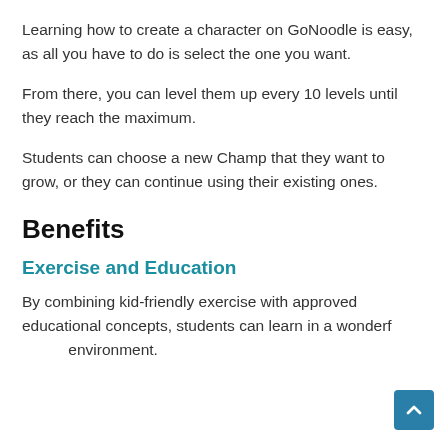Learning how to create a character on GoNoodle is easy, as all you have to do is select the one you want.
From there, you can level them up every 10 levels until they reach the maximum.
Students can choose a new Champ that they want to grow, or they can continue using their existing ones.
Benefits
Exercise and Education
By combining kid-friendly exercise with approved educational concepts, students can learn in a wonderful environment.